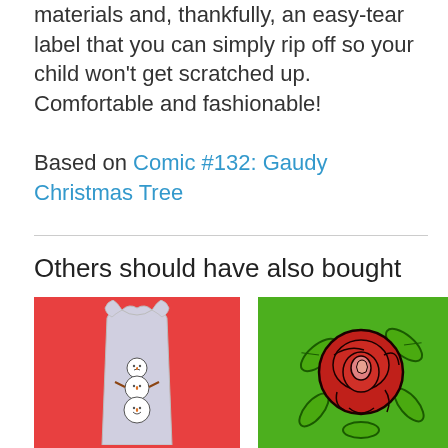materials and, thankfully, an easy-tear label that you can simply rip off so your child won't get scratched up. Comfortable and fashionable!
Based on Comic #132: Gaudy Christmas Tree
Others should have also bought
[Figure (photo): White tank top with snowman design on red background]
[Figure (illustration): Red rose illustration on green background]